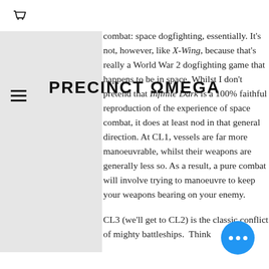PRECINCT OMEGA
There are three command levels (CL). Command Level 1 is tactical fighter combat: space dogfighting, essentially. It's not, however, like X-Wing, because that's really a World War 2 dogfighting game that happens to be in space. Whilst I don't pretend that Infinite Dark is a 100% faithful reproduction of the experience of space combat, it does at least nod in that general direction. At CL1, vessels are far more manoeuvrable, whilst their weapons are generally less so. As a result, a pure combat will involve trying to manoeuvre to keep your weapons bearing on your enemy.
CL3 (we'll get to CL2) is the classic conflict of mighty battleships.  Think